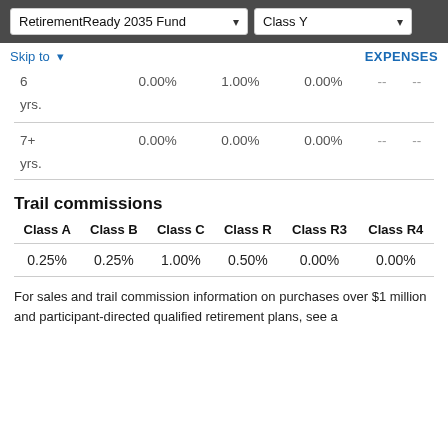RetirementReady 2035 Fund | Class Y
|  | Class A | Class B | Class C | Class R3 | Class R4 |
| --- | --- | --- | --- | --- | --- |
| 6 yrs. | 0.00% | 1.00% | 0.00% | -- | -- |
| 7+ yrs. | 0.00% | 0.00% | 0.00% | -- | -- |
Trail commissions
| Class A | Class B | Class C | Class R | Class R3 | Class R4 |
| --- | --- | --- | --- | --- | --- |
| 0.25% | 0.25% | 1.00% | 0.50% | 0.00% | 0.00% |
For sales and trail commission information on purchases over $1 million and participant-directed qualified retirement plans, see a